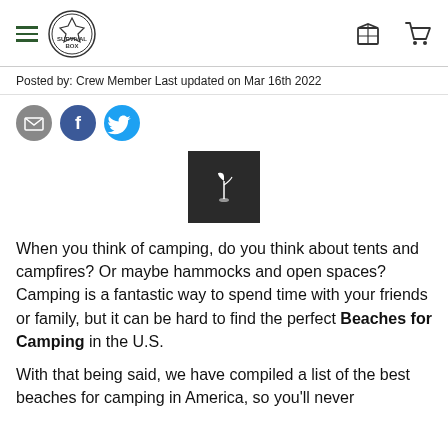SURVIVAL BOX — navigation header with hamburger menu, logo, box icon, and cart icon
Posted by: Crew Member Last updated on Mar 16th 2022
[Figure (illustration): Social share buttons: email (grey circle), Facebook (blue circle with f), Twitter (cyan circle with bird)]
[Figure (photo): Dark square image with a small plant/seedling icon in the center]
When you think of camping, do you think about tents and campfires? Or maybe hammocks and open spaces? Camping is a fantastic way to spend time with your friends or family, but it can be hard to find the perfect Beaches for Camping in the U.S.
With that being said, we have compiled a list of the best beaches for camping in America, so you'll never